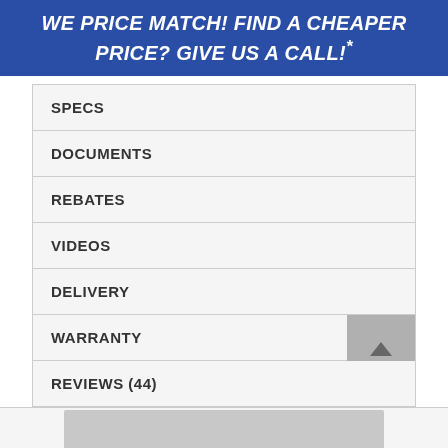WE PRICE MATCH! FIND A CHEAPER PRICE? GIVE US A CALL!*
SPECS
DOCUMENTS
REBATES
VIDEOS
DELIVERY
WARRANTY
REVIEWS (44)
[Figure (photo): Partially visible product image at the bottom of the page]